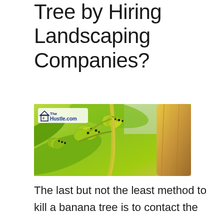Tree by Hiring Landscaping Companies?
[Figure (photo): Close-up photo of green banana bunches hanging from a banana plant, with large green leaves and a yellow-brown stalk visible. The image has a watermark in the top-left corner reading 'The Hustle.com' with a house icon.]
The last but not the least method to kill a banana tree is to contact the